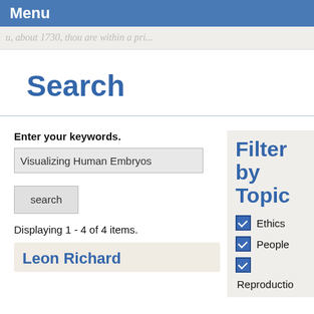Menu
u, about 1730, thou are within a pri...
Search
Enter your keywords.
Visualizing Human Embryos
search
Displaying 1 - 4 of 4 items.
Filter by Topic
Ethics
People
Reproductio
Leon Richard